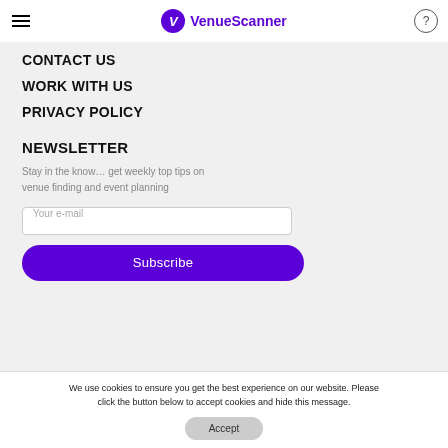VenueScanner
CONTACT US
WORK WITH US
PRIVACY POLICY
NEWSLETTER
Stay in the know… get weekly top tips on venue finding and event planning
Your e-mail
Subscribe
We use cookies to ensure you get the best experience on our website. Please click the button below to accept cookies and hide this message. Accept